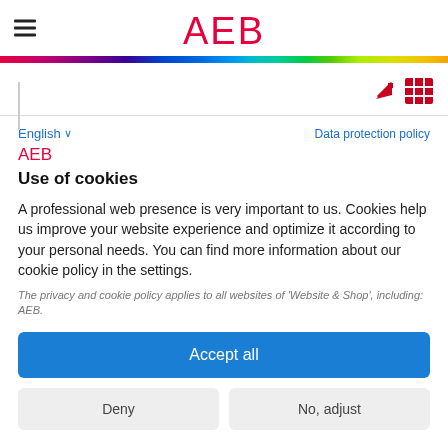AEB
[Figure (screenshot): Icon row with red arrow and red grid icon on right side, with a vertical divider line on the left]
English ∨    Data protection policy
AEB
Use of cookies
A professional web presence is very important to us. Cookies help us improve your website experience and optimize it according to your personal needs. You can find more information about our cookie policy in the settings.
The privacy and cookie policy applies to all websites of 'Website & Shop', including: AEB.
Accept all
Deny    No, adjust